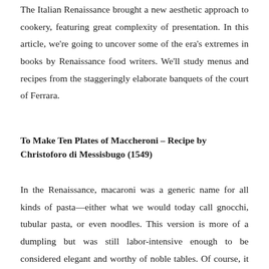The Italian Renaissance brought a new aesthetic approach to cookery, featuring great complexity of presentation. In this article, we're going to uncover some of the era's extremes in books by Renaissance food writers. We'll study menus and recipes from the staggeringly elaborate banquets of the court of Ferrara.
To Make Ten Plates of Maccheroni – Recipe by Christoforo di Messisbugo (1549)
In the Renaissance, macaroni was a generic name for all kinds of pasta—either what we would today call gnocchi, tubular pasta, or even noodles. This version is more of a dumpling but was still labor-intensive enough to be considered elegant and worthy of noble tables. Of course, it does not yet contain potatoes, though those